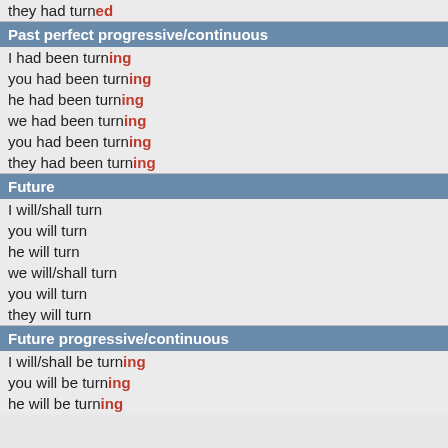they had turned
Past perfect progressive/continuous
I had been turning
you had been turning
he had been turning
we had been turning
you had been turning
they had been turning
Future
I will/shall turn
you will turn
he will turn
we will/shall turn
you will turn
they will turn
Future progressive/continuous
I will/shall be turning
you will be turning
he will be turning